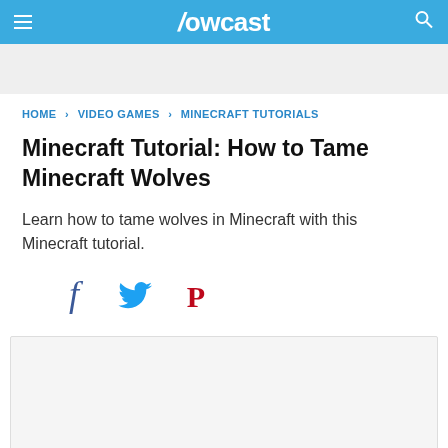Howcast
HOME › VIDEO GAMES › MINECRAFT TUTORIALS
Minecraft Tutorial: How to Tame Minecraft Wolves
Learn how to tame wolves in Minecraft with this Minecraft tutorial.
[Figure (other): Social sharing icons: Facebook (f), Twitter bird, Pinterest (P)]
[Figure (other): Video player placeholder area]